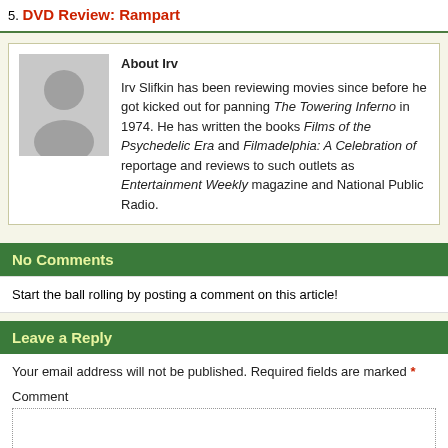5. DVD Review: Rampart
About Irv
Irv Slifkin has been reviewing movies since before he got kicked out for panning The Towering Inferno in 1974. He has written the books Films of the Psychedelic Era and Filmadelphia: A Celebration of reportage and reviews to such outlets as Entertainment Weekly magazine and National Public Radio.
No Comments
Start the ball rolling by posting a comment on this article!
Leave a Reply
Your email address will not be published. Required fields are marked *
Comment